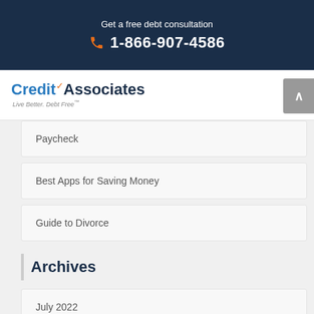Get a free debt consultation
1-866-907-4586
[Figure (logo): CreditAssociates logo with orange checkmark, tagline: Live Better. Debt Free]
Paycheck
Best Apps for Saving Money
Guide to Divorce
Archives
July 2022
June 2022